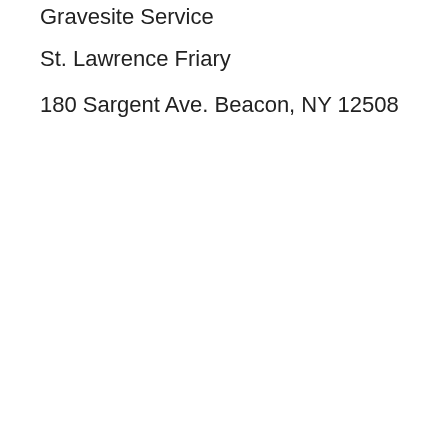Gravesite Service
St. Lawrence Friary
180 Sargent Ave. Beacon, NY 12508